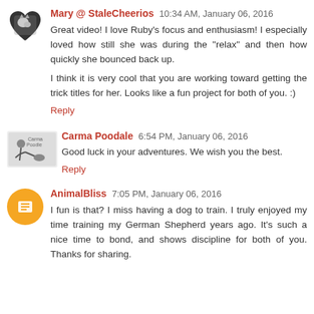Mary @ StaleCheerios  10:34 AM, January 06, 2016
Great video! I love Ruby's focus and enthusiasm! I especially loved how still she was during the "relax" and then how quickly she bounced back up.
I think it is very cool that you are working toward getting the trick titles for her. Looks like a fun project for both of you. :)
Reply
Carma Poodale  6:54 PM, January 06, 2016
Good luck in your adventures. We wish you the best.
Reply
AnimalBliss  7:05 PM, January 06, 2016
I fun is that? I miss having a dog to train. I truly enjoyed my time training my German Shepherd years ago. It's such a nice time to bond, and shows discipline for both of you. Thanks for sharing.